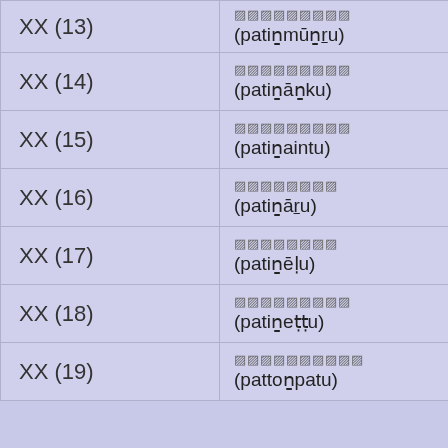| Tamil numeral | Tamil word (transliteration) |
| --- | --- |
| XX (13) | XXXXXXXXX
(patiṉmūṉru) |
| XX (14) | XXXXXXXXX
(patiṉāṉku) |
| XX (15) | XXXXXXXXX
(patiṉaintu) |
| XX (16) | XXXXXXXX
(patiṉāru) |
| XX (17) | XXXXXXXX
(patiṉēḷu) |
| XX (18) | XXXXXXXXX
(patiṉeṭṭu) |
| XX (19) | XXXXXXXXXX
(pattoṉpatu) |